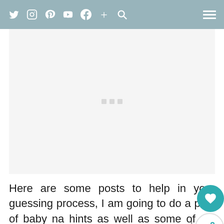Twitter Instagram Pinterest YouTube Facebook + Search | Menu
[Figure (other): Advertisement placeholder area with three small grey dots/rectangles in the center]
Here are some posts to help in your guessing process, I am going to do a post of baby name hints as well as some of my answers for common wives tales gender predictors, so I'll